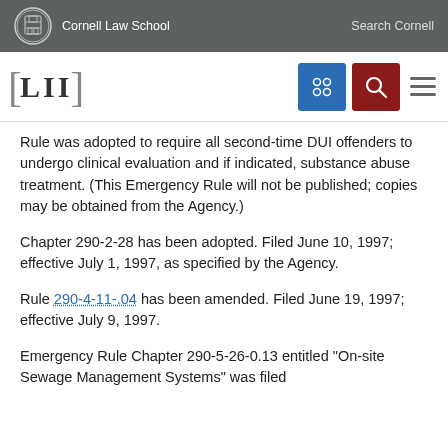Cornell Law School   Search Cornell
[Figure (logo): LII Legal Information Institute logo with navigation icons (grid icon in blue, search icon in red, hamburger menu)]
Rule was adopted to require all second-time DUI offenders to undergo clinical evaluation and if indicated, substance abuse treatment. (This Emergency Rule will not be published; copies may be obtained from the Agency.)
Chapter 290-2-28 has been adopted. Filed June 10, 1997; effective July 1, 1997, as specified by the Agency.
Rule 290-4-11-.04 has been amended. Filed June 19, 1997; effective July 9, 1997.
Emergency Rule Chapter 290-5-26-0.13 entitled "On-site Sewage Management Systems" was filed